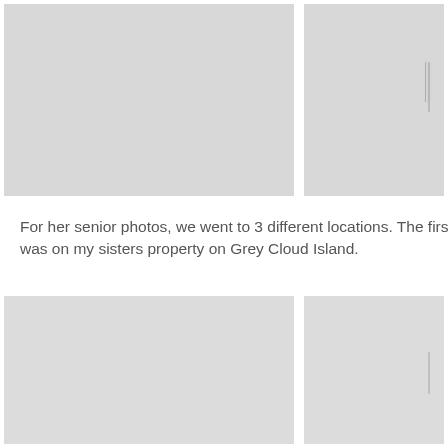[Figure (photo): Large photo placeholder on left, top row]
[Figure (photo): Smaller photo placeholder on right, top row, with page curl/fold line visible]
For her senior photos, we went to 3 different locations. The first was on my sisters property on Grey Cloud Island.
[Figure (photo): Large photo placeholder on left, bottom row]
[Figure (photo): Smaller photo placeholder on right, bottom row, with page curl/fold line visible]